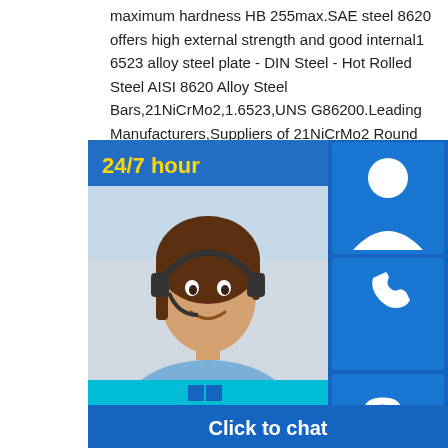maximum hardness HB 255max.SAE steel 8620 offers high external strength and good internal1 6523 alloy steel plate - DIN Steel - Hot Rolled Steel AISI 8620 Alloy Steel Bars,21NiCrMo2,1.6523,UNS G86200.Leading Manufacturers,Suppliers of 21NiCrMo2 Round Bar (1.6523,UNS G86200) SAE alloy of iron,further classified as a low- the SAE-AISI designation for this mate EN numeric designation.And G86200 i
[Figure (infographic): Customer support chat widget with 24/7 hour banner, photo of smiling female customer service representative with headset, three icon buttons (customer service agent icon, phone icon, Skype icon), and 'Click to chat' bar at the bottom.]
1.6523 SAE8620 Rolled Special Allo Mechanical
SNCM220 21NiCrMo2 1.6523 8620 He Steel Round Bar 1 8620 steel introduction AISI 8620 Steel is a low alloy nickel,chromium,molybdenum case hardening steel,generally supplied in the as rolled condition with a maximum hardness HB 255max. 8620 DIN1. 6523 SNCM220 Gear Steel Round Bar 8620 DIN1. 6523 SNCM220 Gear Steel Round Bar. Application.